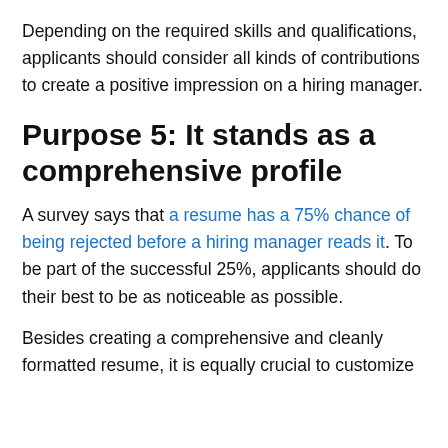Depending on the required skills and qualifications, applicants should consider all kinds of contributions to create a positive impression on a hiring manager.
Purpose 5: It stands as a comprehensive profile
A survey says that a resume has a 75% chance of being rejected before a hiring manager reads it. To be part of the successful 25%, applicants should do their best to be as noticeable as possible.
Besides creating a comprehensive and cleanly formatted resume, it is equally crucial to customize